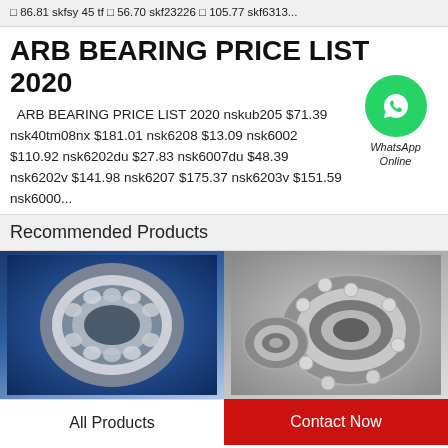□ 86.81 skfsy 45 tf □ 56.70 skf23226 □ 105.77 skf6313...
ARB BEARING PRICE LIST 2020
ARB BEARING PRICE LIST 2020 nskub205 $71.39 nsk40tm08nx $181.01 nsk6208 $13.09 nsk6002 $110.92 nsk6202du $27.83 nsk6007du $48.39 nsk6202v $141.98 nsk6207 $175.37 nsk6203v $151.59 nsk6000...
[Figure (logo): WhatsApp Online green circle icon with phone handset, labeled WhatsApp Online]
Recommended Products
[Figure (photo): Photo of spherical roller bearing on blue background]
[Figure (photo): Photo of ball bearings on grey metallic background]
All Products
Contact Now